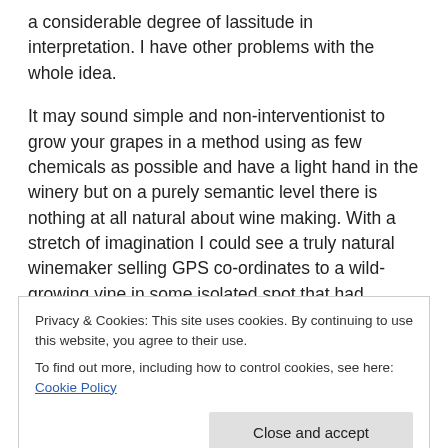a considerable degree of lassitude in interpretation. I have other problems with the whole idea.
It may sound simple and non-interventionist to grow your grapes in a method using as few chemicals as possible and have a light hand in the winery but on a purely semantic level there is nothing at all natural about wine making. With a stretch of imagination I could see a truly natural winemaker selling GPS co-ordinates to a wild-growing vine in some isolated spot that had dropped a couple of bunches of grapes onto the ground which, if you find and drink the putrefying juice over the next couple of days
Privacy & Cookies: This site uses cookies. By continuing to use this website, you agree to their use.
To find out more, including how to control cookies, see here: Cookie Policy
winemaker just a vine co-ordinate provider.